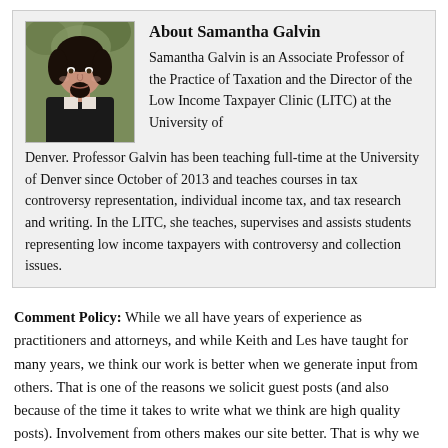[Figure (photo): Headshot photo of Samantha Galvin, a woman with dark hair wearing a black jacket, outdoors with green foliage in background.]
About Samantha Galvin
Samantha Galvin is an Associate Professor of the Practice of Taxation and the Director of the Low Income Taxpayer Clinic (LITC) at the University of Denver. Professor Galvin has been teaching full-time at the University of Denver since October of 2013 and teaches courses in tax controversy representation, individual income tax, and tax research and writing. In the LITC, she teaches, supervises and assists students representing low income taxpayers with controversy and collection issues.
Comment Policy: While we all have years of experience as practitioners and attorneys, and while Keith and Les have taught for many years, we think our work is better when we generate input from others. That is one of the reasons we solicit guest posts (and also because of the time it takes to write what we think are high quality posts). Involvement from others makes our site better. That is why we have kept our site open to comments.
If you want to make a public comment, you must identify yourself (using